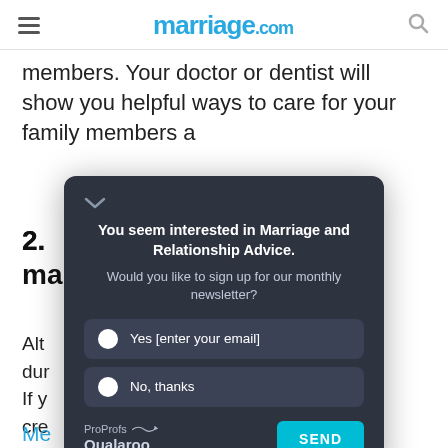marriage.com
members. Your doctor or dentist will show you helpful ways to care for your family members a
2. [heading: ...t and ma...]
Alt... ng them dur... anytime. If y... cre...
[Figure (screenshot): Newsletter signup modal popup with dark background. Title: 'You seem interested in Marriage and Relationship Advice.' Subtitle: 'Would you like to sign up for our monthly newsletter?' Options: 'Yes [enter your email]' and 'No, thanks'. Footer: ProProfs Qualaroo logo and SEND button.]
Me... me to